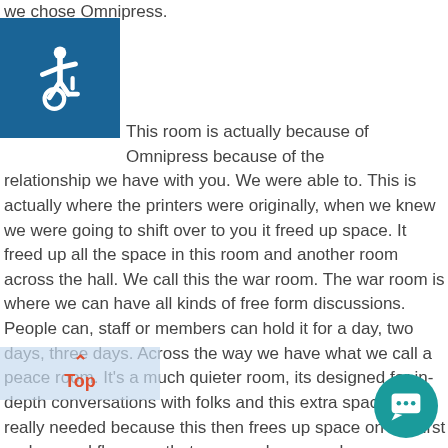we chose Omnipress.
[Figure (illustration): Wheelchair accessibility icon — white figure in wheelchair on blue square background]
This room is actually because of Omnipress because of the relationship we have with you. We were able to. This is actually where the printers were originally, when we knew we were going to shift over to you it freed up space. It freed up all the space in this room and another room across the hall. We call this the war room. The war room is where we can have all kinds of free form discussions. People can, staff or members can hold it for a day, two days, three days. Across the way we have what we call a peace room. It's a much quieter room, its designed for in-depth conversations with folks and this extra space was really needed because this then frees up space on our first and second floors so that our members now have more space to use. So it really has been a benefit to us as an organiza